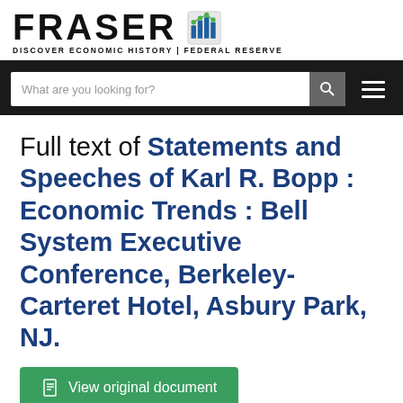FRASER® DISCOVER ECONOMIC HISTORY | FEDERAL RESERVE
Full text of Statements and Speeches of Karl R. Bopp : Economic Trends : Bell System Executive Conference, Berkeley-Carteret Hotel, Asbury Park, NJ.
View original document